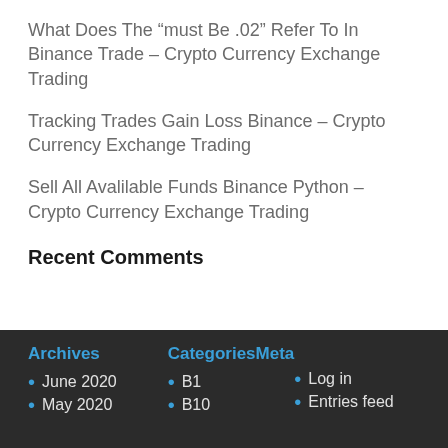What Does The “must Be .02” Refer To In Binance Trade – Crypto Currency Exchange Trading
Tracking Trades Gain Loss Binance – Crypto Currency Exchange Trading
Sell All Avalilable Funds Binance Python – Crypto Currency Exchange Trading
Recent Comments
Archives
CategoriesMeta
June 2020
May 2020
B1
B10
Log in
Entries feed